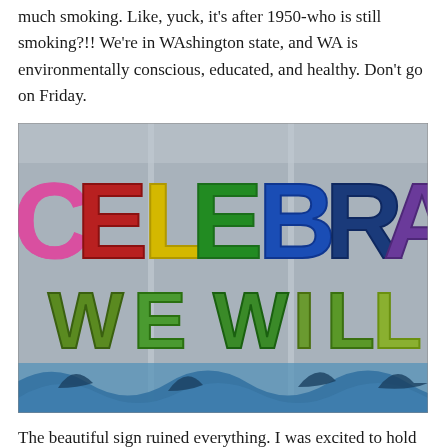much smoking. Like, yuck, it's after 1950-who is still smoking?!! We're in WAshington state, and WA is environmentally conscious, educated, and healthy. Don't go on Friday.
[Figure (photo): A colorful hand-painted mural on a wall showing the words 'CELEBRATE' in large multicolored letters (pink, red, yellow, green, blue, purple) and below it 'WE WILL' in green letters, with painted blue waves at the bottom.]
The beautiful sign ruined everything. I was excited to hold